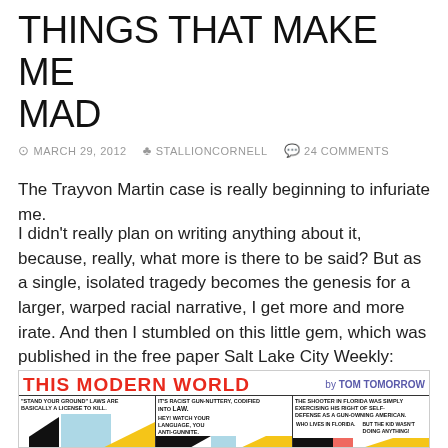THINGS THAT MAKE ME MAD
MARCH 29, 2012   STALLIONCORNELL   24 COMMENTS
The Trayvon Martin case is really beginning to infuriate me.
I didn't really plan on writing anything about it, because, really, what more is there to be said? But as a single, isolated tragedy becomes the genesis for a larger, warped racial narrative, I get more and more irate. And then I stumbled on this little gem, which was published in the free paper Salt Lake City Weekly:
[Figure (illustration): Comic strip 'This Modern World by Tom Tomorrow' with three panels showing figures discussing Stand Your Ground laws and the Trayvon Martin shooting in Florida.]